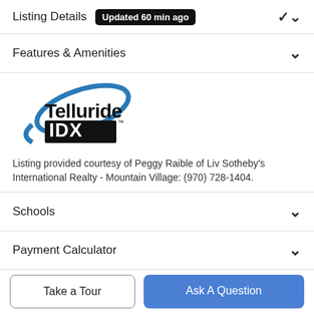Listing Details  Updated 60 min ago
Features & Amenities
[Figure (logo): Telluride IDX logo with blue swoosh arc and bold black text]
Listing provided courtesy of Peggy Raible of Liv Sotheby's International Realty - Mountain Village: (970) 728-1404.
Schools
Payment Calculator
Take a Tour
Ask A Question